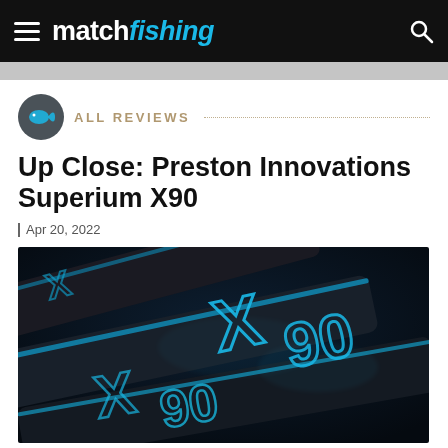matchfishing
ALL REVIEWS
Up Close: Preston Innovations Superium X90
Apr 20, 2022
[Figure (photo): Close-up photo of Preston Innovations Superium X90 pole sections with blue X90 branding on dark carbon fiber rods]